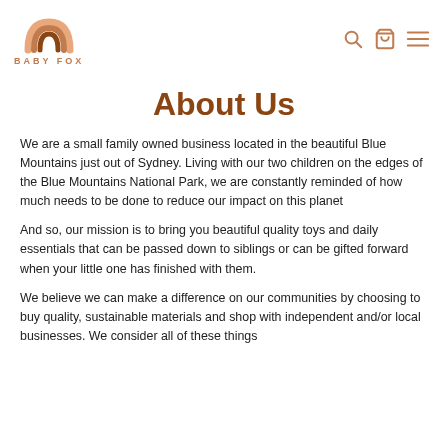BABY FOX
About Us
We are a small family owned business located in the beautiful Blue Mountains just out of Sydney. Living with our two children on the edges of the Blue Mountains National Park, we are constantly reminded of how much needs to be done to reduce our impact on this planet
And so, our mission is to bring you beautiful quality toys and daily essentials that can be passed down to siblings or can be gifted forward when your little one has finished with them.
We believe we can make a difference on our communities by choosing to buy quality, sustainable materials and shop with independent and/or local businesses. We consider all of these things